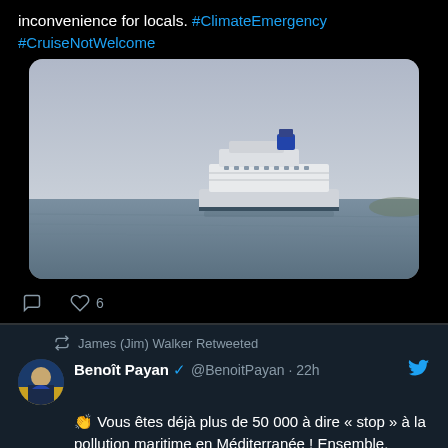inconvenience for locals. #ClimateEmergency #CruiseNotWelcome
[Figure (photo): A large white cruise ship on grey water under an overcast sky, viewed from a distance]
💬  ♡ 6
James (Jim) Walker Retweeted
Benoît Payan ✔ @BenoitPayan · 22h
👏 Vous êtes déjà plus de 50 000 à dire « stop » à la pollution maritime en Méditerranée ! Ensemble, continuons d'alerter sur cette urgence jusqu'à ce que la Méditerranée et ses habitants soient enfin protégés.